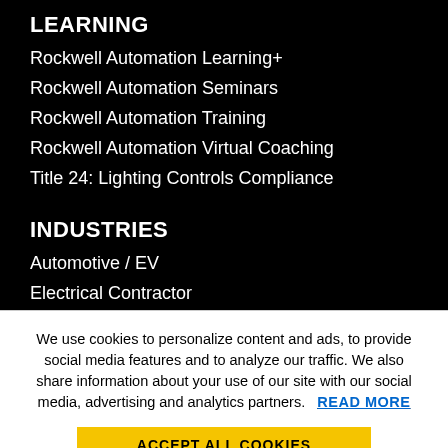LEARNING
Rockwell Automation Learning+
Rockwell Automation Seminars
Rockwell Automation Training
Rockwell Automation Virtual Coaching
Title 24: Lighting Controls Compliance
INDUSTRIES
Automotive / EV
Electrical Contractor
Food Processing
We use cookies to personalize content and ads, to provide social media features and to analyze our traffic. We also share information about your use of our site with our social media, advertising and analytics partners. READ MORE
ACCEPT ALL COOKIES